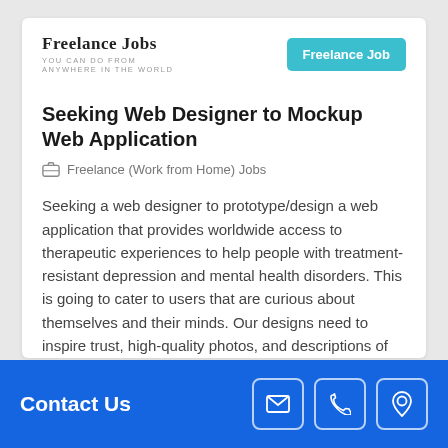Freelance Jobs — YOU CAN DO FROM ANYWHERE IN THE WORLD | Freelance Job
Seeking Web Designer to Mockup Web Application
Freelance (Work from Home) Jobs
Seeking a web designer to prototype/design a web application that provides worldwide access to therapeutic experiences to help people with treatment-resistant depression and mental health disorders. This is going to cater to users that are curious about themselves and their minds. Our designs need to inspire trust, high-quality photos, and descriptions of spaces
Aug 22, 2022
Contact Us